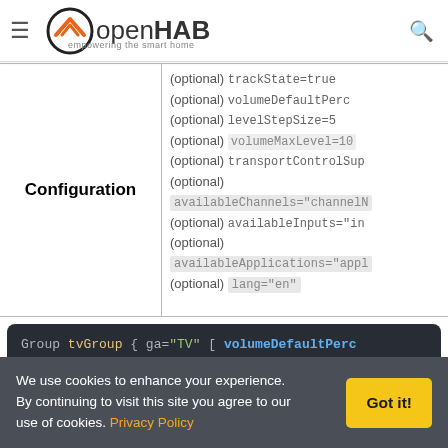openHAB navigation bar with hamburger menu and search icon
| Configuration |  |
| --- | --- |
| Configuration | (optional) trackState=true
(optional) volumeDefaultPerc
(optional) levelStepSize=5
(optional) volumeMaxLevel=10
(optional) transportControlSup
(optional)
availableChannels="channelN
(optional) availableInputs="in
(optional)
availableApplications="appl
(optional) lang="en" |
[Figure (screenshot): Dark code block showing openHAB items configuration: Group tvGroup { ga="TV" [ volumeDefaultPerc... Switch powerItem (tvGroup) { ga="tvPow... Switch muteItem (tvGroup) { ga="tvMut... Dimmer volumeItem (tvGroup) { ga="tvVol... String channelItem (tvGroup) { ga="tvCha... String inputItem (tvGroup) { ga="tvInp...]
We use cookies to enhance your experience. By continuing to visit this site you agree to our use of cookies. Privacy Policy